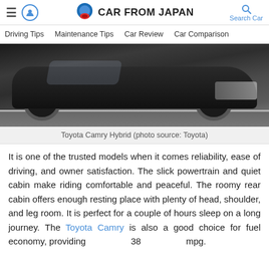CAR FROM JAPAN
Driving Tips  Maintenance Tips  Car Review  Car Comparison
[Figure (photo): Toyota Camry Hybrid car driving on a road, front-low angle shot showing wheels and front grille against dark background]
Toyota Camry Hybrid (photo source: Toyota)
It is one of the trusted models when it comes reliability, ease of driving, and owner satisfaction. The slick powertrain and quiet cabin make riding comfortable and peaceful. The roomy rear cabin offers enough resting place with plenty of head, shoulder, and leg room. It is perfect for a couple of hours sleep on a long journey. The Toyota Camry is also a good choice for fuel economy, providing 38 mpg.